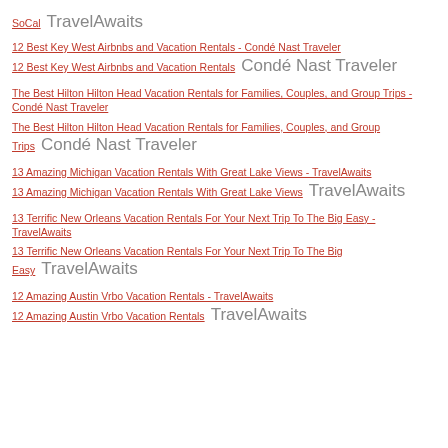SoCal  TravelAwaits
12 Best Key West Airbnbs and Vacation Rentals - Condé Nast Traveler
12 Best Key West Airbnbs and Vacation Rentals  Condé Nast Traveler
The Best Hilton Hilton Head Vacation Rentals for Families, Couples, and Group Trips - Condé Nast Traveler
The Best Hilton Hilton Head Vacation Rentals for Families, Couples, and Group Trips  Condé Nast Traveler
13 Amazing Michigan Vacation Rentals With Great Lake Views - TravelAwaits
13 Amazing Michigan Vacation Rentals With Great Lake Views  TravelAwaits
13 Terrific New Orleans Vacation Rentals For Your Next Trip To The Big Easy - TravelAwaits
13 Terrific New Orleans Vacation Rentals For Your Next Trip To The Big Easy  TravelAwaits
12 Amazing Austin Vrbo Vacation Rentals - TravelAwaits
12 Amazing Austin Vrbo Vacation Rentals  TravelAwaits